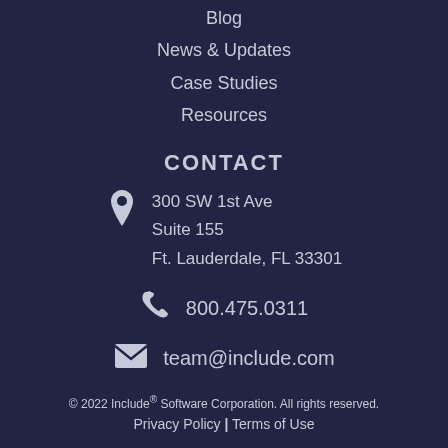Blog
News & Updates
Case Studies
Resources
CONTACT
300 SW 1st Ave
Suite 155
Ft. Lauderdale, FL 33301
800.475.0311
team@include.com
© 2022 Include® Software Corporation. All rights reserved.
Privacy Policy | Terms of Use